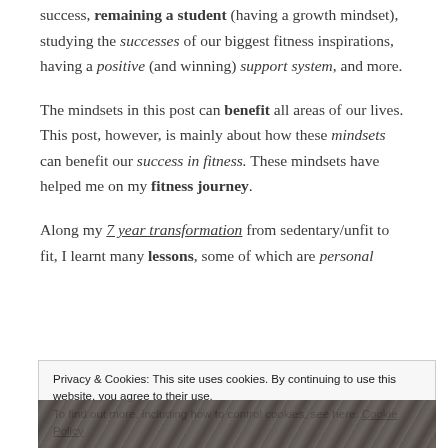success, remaining a student (having a growth mindset), studying the successes of our biggest fitness inspirations, having a positive (and winning) support system, and more.
The mindsets in this post can benefit all areas of our lives. This post, however, is mainly about how these mindsets can benefit our success in fitness. These mindsets have helped me on my fitness journey.
Along my 7 year transformation from sedentary/unfit to fit, I learnt many lessons, some of which are personal
Privacy & Cookies: This site uses cookies. By continuing to use this website, you agree to their use. To find out more, including how to control cookies, see here: Cookie Policy
Close and accept